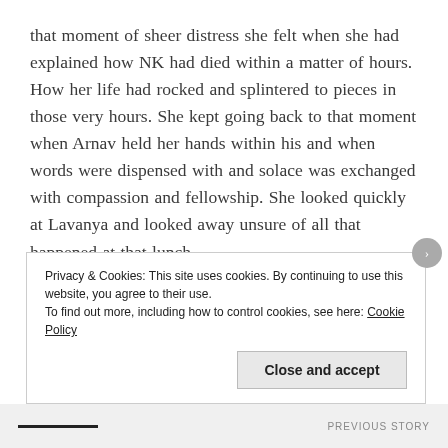that moment of sheer distress she felt when she had explained how NK had died within a matter of hours. How her life had rocked and splintered to pieces in those very hours. She kept going back to that moment when Arnav held her hands within his and when words were dispensed with and solace was exchanged with compassion and fellowship. She looked quickly at Lavanya and looked away unsure of all that happened at that lunch.
Privacy & Cookies: This site uses cookies. By continuing to use this website, you agree to their use. To find out more, including how to control cookies, see here: Cookie Policy
Close and accept